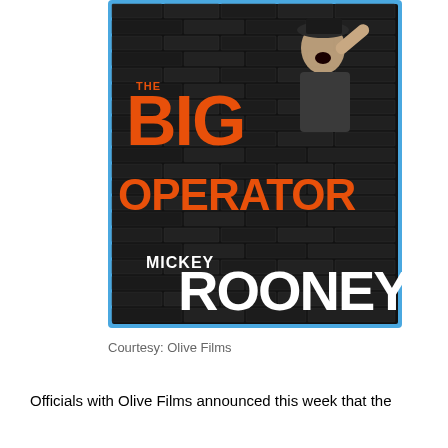[Figure (illustration): Blu-ray case cover for 'The Big Operator' featuring Mickey Rooney. Dark brick wall background with orange large text reading 'BIG' and 'THE OPERATOR' in orange block letters, and 'MICKEY ROONEY' in large white letters at the bottom. A man in a hat and suit appears to be shouting aggressively, holding something. The case has a blue border characteristic of Blu-ray packaging.]
Courtesy: Olive Films
Officials with Olive Films announced this week that the